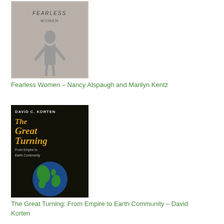[Figure (photo): Book cover: Fearless Women by Nancy Alspaugh and Marilyn Kentz - black and white image of a woman]
Fearless Women – Nancy Alspaugh and Marilyn Kentz
[Figure (photo): Book cover: The Great Turning: From Empire to Earth Community by David Korten - dark cover with Earth image]
The Great Turning: From Empire to Earth Community – David Korten
[Figure (photo): Book cover: The Merlin Factor: Keys to the Corporate Kingdom by Charles E. Smith - blue building cover]
The Merlin Factor: Keys to the Corporate Kingdom – Charles E. Smith
[Figure (photo): Book cover: partially visible book at bottom of page]